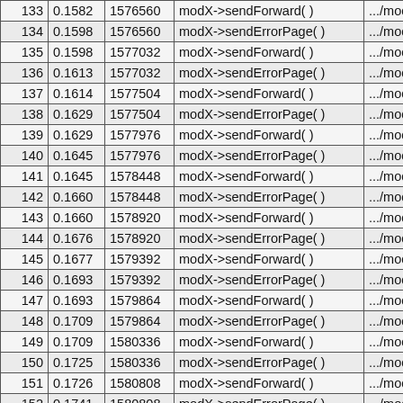|  |  |  |  |  |
| --- | --- | --- | --- | --- |
| 133 | 0.1582 | 1576560 | modX->sendForward( ) | .../mod |
| 134 | 0.1598 | 1576560 | modX->sendErrorPage( ) | .../mod |
| 135 | 0.1598 | 1577032 | modX->sendForward( ) | .../mod |
| 136 | 0.1613 | 1577032 | modX->sendErrorPage( ) | .../mod |
| 137 | 0.1614 | 1577504 | modX->sendForward( ) | .../mod |
| 138 | 0.1629 | 1577504 | modX->sendErrorPage( ) | .../mod |
| 139 | 0.1629 | 1577976 | modX->sendForward( ) | .../mod |
| 140 | 0.1645 | 1577976 | modX->sendErrorPage( ) | .../mod |
| 141 | 0.1645 | 1578448 | modX->sendForward( ) | .../mod |
| 142 | 0.1660 | 1578448 | modX->sendErrorPage( ) | .../mod |
| 143 | 0.1660 | 1578920 | modX->sendForward( ) | .../mod |
| 144 | 0.1676 | 1578920 | modX->sendErrorPage( ) | .../mod |
| 145 | 0.1677 | 1579392 | modX->sendForward( ) | .../mod |
| 146 | 0.1693 | 1579392 | modX->sendErrorPage( ) | .../mod |
| 147 | 0.1693 | 1579864 | modX->sendForward( ) | .../mod |
| 148 | 0.1709 | 1579864 | modX->sendErrorPage( ) | .../mod |
| 149 | 0.1709 | 1580336 | modX->sendForward( ) | .../mod |
| 150 | 0.1725 | 1580336 | modX->sendErrorPage( ) | .../mod |
| 151 | 0.1726 | 1580808 | modX->sendForward( ) | .../mod |
| 152 | 0.1741 | 1580808 | modX->sendErrorPage( ) | .../mod |
| 153 | 0.1741 | 1581280 | modX->sendForward( ) | .../mod |